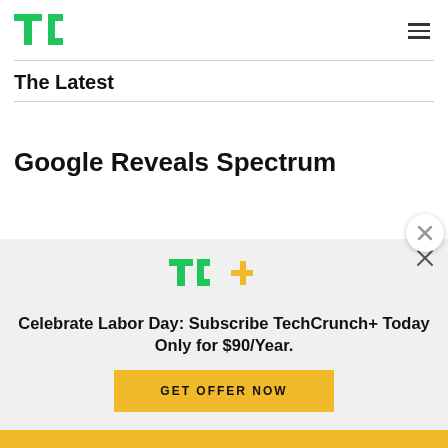TechCrunch
The Latest
Google Reveals Spectrum
[Figure (logo): TechCrunch+ logo in green with yellow plus sign]
Celebrate Labor Day: Subscribe TechCrunch+ Today Only for $90/Year.
GET OFFER NOW